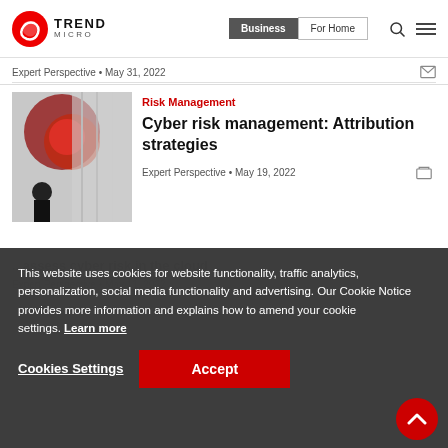[Figure (screenshot): Trend Micro website header with logo, Business/For Home navigation buttons, search and menu icons]
Expert Perspective • May 31, 2022
[Figure (photo): Abstract photo of a red circle pattern and urban architecture with a person on a phone]
Risk Management
Cyber risk management: Attribution strategies
Expert Perspective • May 19, 2022
This website uses cookies for website functionality, traffic analytics, personalization, social media functionality and advertising. Our Cookie Notice provides more information and explains how to amend your cookie settings. Learn more
Cookies Settings
Accept